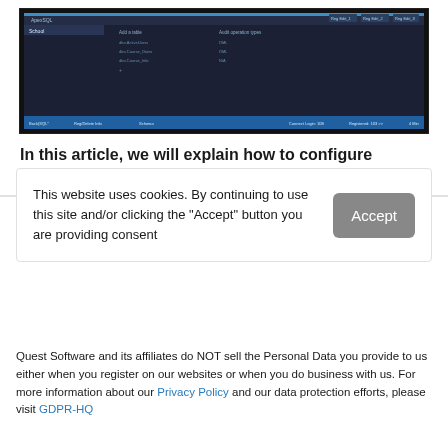[Figure (screenshot): Screenshot of ApexSQL Audit software interface showing a dark themed database auditing tool with table listings and a blue bottom toolbar]
In this article, we will explain how to configure ApexSQL Audit
This website uses cookies. By continuing to use this site and/or clicking the "Accept" button you are providing consent
Quest Software and its affiliates do NOT sell the Personal Data you provide to us either when you register on our websites or when you do business with us. For more information about our Privacy Policy and our data protection efforts, please visit GDPR-HQ